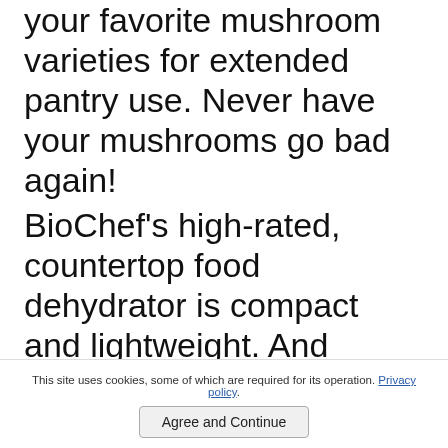your favorite mushroom varieties for extended pantry use. Never have your mushrooms go bad again!
[Figure (other): Pinterest Save button with count of 0]
BioChef's high-rated, countertop food dehydrator is compact and lightweight. And features 6 BPA-free, stainless steel drying trays, an advanced digital timer, adjustable thermostat and temperature control, and horizontal air flow.
This site uses cookies, some of which are required for its operation. Privacy policy.
Agree and Continue